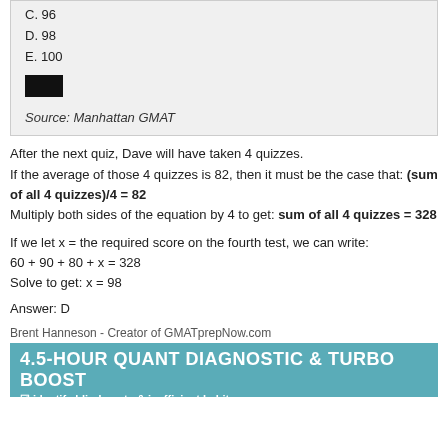C. 96
D. 98
E. 100
Source: Manhattan GMAT
After the next quiz, Dave will have taken 4 quizzes.
If the average of those 4 quizzes is 82, then it must be the case that: (sum of all 4 quizzes)/4 = 82
Multiply both sides of the equation by 4 to get: sum of all 4 quizzes = 328
If we let x = the required score on the fourth test, we can write:
60 + 90 + 80 + x = 328
Solve to get: x = 98
Answer: D
Brent Hanneson - Creator of GMATprepNow.com
[Figure (infographic): 4.5-Hour Quant Diagnostic & Turbo Boost banner advertisement with teal background, white bold text, and superhero illustration. Subtext: identify blind spots & inefficient habits]